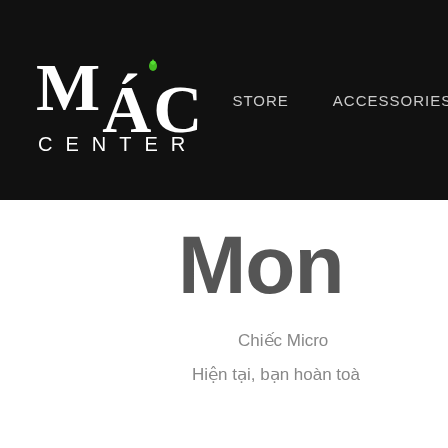MAC CENTER | STORE | ACCESSORIES | POWER & CA...
Mons...
Chiếc Micro...
Hiện tại, bạn hoàn toà...